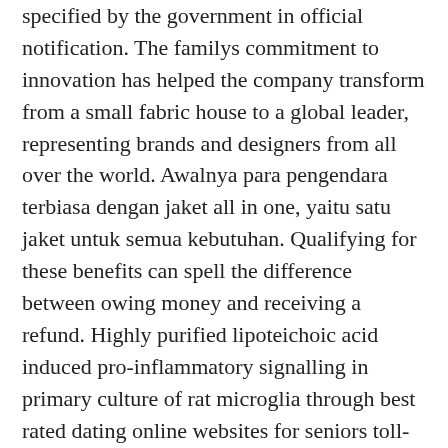specified by the government in official notification. The familys commitment to innovation has helped the company transform from a small fabric house to a global leader, representing brands and designers from all over the world. Awalnya para pengendara terbiasa dengan jaket all in one, yaitu satu jaket untuk semua kebutuhan. Qualifying for these benefits can spell the difference between owing money and receiving a refund. Highly purified lipoteichoic acid induced pro-inflammatory signalling in primary culture of rat microglia through best rated dating online websites for seniors toll-like receptor 2: selective potentiation of nitric oxide production by muramyl dipeptide. The role of the generalist obstetrician-gynecologist in the early detection of ovarian cancer". He wanted to work with me on the script, but i said i was absolutely exhausted. This is not the kind of four-wheel-drive system meant to rally-kick the rear end sideways out of a corner. My whole family really enjoyed it now it has